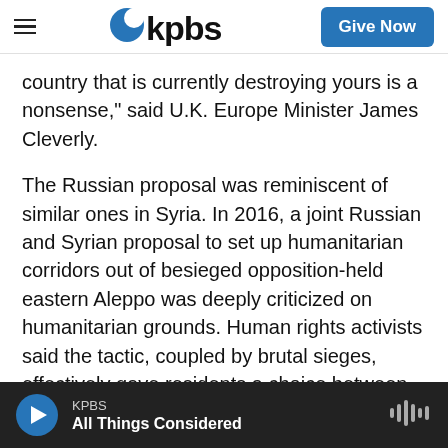KPBS — Give Now
country that is currently destroying yours is a nonsense," said U.K. Europe Minister James Cleverly.
The Russian proposal was reminiscent of similar ones in Syria. In 2016, a joint Russian and Syrian proposal to set up humanitarian corridors out of besieged opposition-held eastern Aleppo was deeply criticized on humanitarian grounds. Human rights activists said the tactic, coupled by brutal sieges, effectively gave residents a choice between fleeing into the arms of their attackers or dying under bombardment.
KPBS — All Things Considered